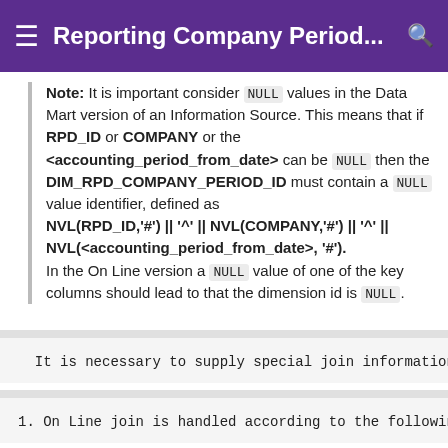Reporting Company Period...
Note: It is important consider NULL values in the Data Mart version of an Information Source. This means that if RPD_ID or COMPANY or the <accounting_period_from_date> can be NULL then the DIM_RPD_COMPANY_PERIOD_ID must contain a NULL value identifier, defined as NVL(RPD_ID,'#') || '^' || NVL(COMPANY,'#') || '^' || NVL(<accounting_period_from_date>, '#'). In the On Line version a NULL value of one of the key columns should lead to that the dimension id is NULL.
It is necessary to supply special join information fo
1. On Line join is handled according to the following: